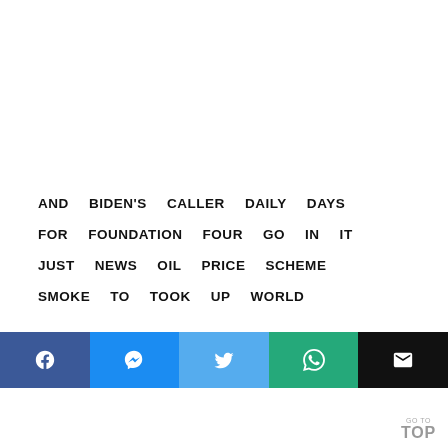AND BIDEN'S CALLER DAILY DAYS FOR FOUNDATION FOUR GO IN IT JUST NEWS OIL PRICE SCHEME SMOKE TO TOOK UP WORLD
[Figure (other): Social media share buttons: Facebook, Messenger, Twitter, WhatsApp, Email]